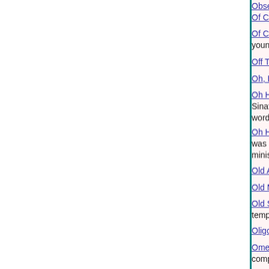Obsession (Insid...
Of Course, It Enr...
Of Course She'S... young actress w...
Off The Shelf (S...
Oh, Hell No ! He...
Oh How I Miss T... Sinatra. They are... words]
Oh How The Mig... was inspired by t... minister, Bishop...
Old Adages (Poe...
Old Macdonald (...
Old School Sum... tempo beat and s...
Oligopoly (Slight...
Omen (Songs) O... completed music...
On A Summer Ni...
On Any Given Da...
On Nights Like T...
On The Chance...
On This One-Wa...
Once Bitten (Nov...
Once The Bullet...
Once They Are D...